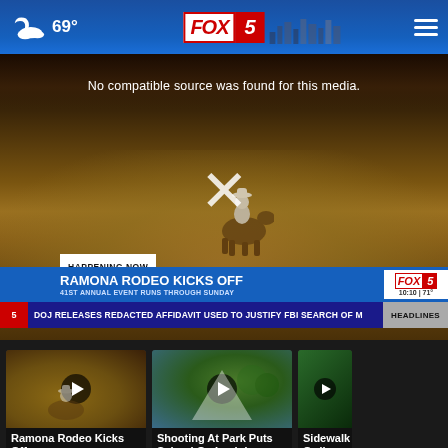FOX 5 | 69° | Weather: Partly Cloudy
[Figure (screenshot): Video player showing rodeo scene with cowboy on horse in dusty arena. Overlay text: 'No compatible source was found for this media.' Large X close button in center. Lower third shows 'HAPPENING NOW | RAMONA RODEO KICKS OFF | 41ST ANNUAL EVENT RUNS THROUGH SUNDAY | FOX 5 | 10:10 | 71°'. Ticker: 'DOJ RELEASES REDACTED AFFIDAVIT USED TO JUSTIFY FBI SEARCH OF | HEADLINES']
HAPPENING NOW — RAMONA RODEO KICKS OFF — 41ST ANNUAL EVENT RUNS THROUGH SUNDAY
DOJ RELEASES REDACTED AFFIDAVIT USED TO JUSTIFY FBI SEARCH OF | HEADLINES
[Figure (screenshot): Thumbnail: Ramona Rodeo Kicks Off — rodeo scene with play button]
Ramona Rodeo Kicks Off
[Figure (screenshot): Thumbnail: Shooting At Park Puts School On Lockdown — park scene with play button]
Shooting At Park Puts School On Lockdown
[Figure (screenshot): Thumbnail: Sidewalk Ordinance — green scene with play button]
Sidewalk Ordin...